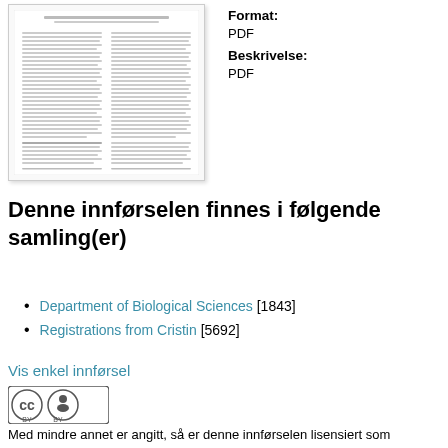[Figure (illustration): Thumbnail preview of a PDF document page showing a scientific paper with columns of text and references.]
Format: PDF
Beskrivelse: PDF
Åpne
Denne innførselen finnes i følgende samling(er)
Department of Biological Sciences [1843]
Registrations from Cristin [5692]
Vis enkel innførsel
[Figure (logo): Creative Commons Attribution (CC BY) license badge.]
Med mindre annet er angitt, så er denne innførselen lisensiert som Navngivelse 4.0 Internasjonal